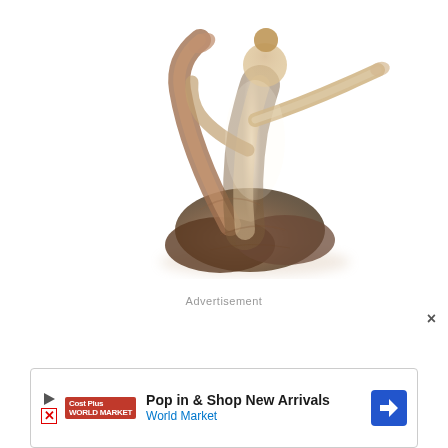[Figure (illustration): Double-exposure artistic photo of a woman in a yoga backbend pose (king pigeon/eka pada rajakapotasana), fused with a textured stone or driftwood background. The figure is in warm beige and brown tones on a white background with a soft shadow beneath.]
Advertisement
×
[Figure (screenshot): Ad banner for World Market (Cost Plus World Market). Contains a play button icon, a red World Market logo, the text 'Pop in & Shop New Arrivals' in bold and 'World Market' in blue, and a blue diamond-shaped navigation arrow icon on the right.]